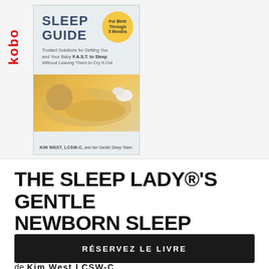[Figure (illustration): Book cover of 'The Sleep Lady's Gentle Newborn Sleep Guide' by Kim West, LCSW-C and her Gentle Sleep Team. Cover shows a sleeping baby in a yellow onesie. Includes a yellow circular badge reading 'For Birth Through 5 Months'. Kobo logo visible on the left side in red vertical text.]
THE SLEEP LADY®'S GENTLE NEWBORN SLEEP GUIDE:...
de Kim West LCSW-C
RÉSERVEZ LE LIVRE